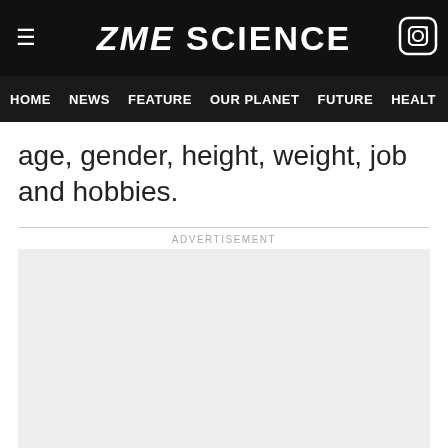ZME SCIENCE
HOME  NEWS  FEATURE  OUR PLANET  FUTURE  HEALT
age, gender, height, weight, job and hobbies.
[Figure (other): Advertisement placeholder box with light grey background and ADVERTISEMENT label above]